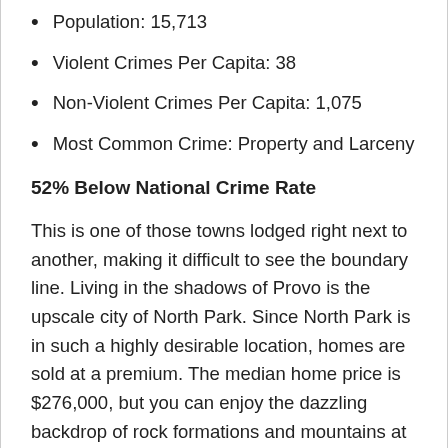Population: 15,713
Violent Crimes Per Capita: 38
Non-Violent Crimes Per Capita: 1,075
Most Common Crime: Property and Larceny
52% Below National Crime Rate
This is one of those towns lodged right next to another, making it difficult to see the boundary line. Living in the shadows of Provo is the upscale city of North Park. Since North Park is in such a highly desirable location, homes are sold at a premium. The median home price is $276,000, but you can enjoy the dazzling backdrop of rock formations and mountains at no extra charge.